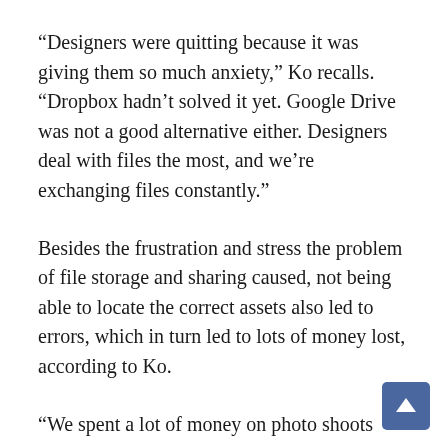“Designers were quitting because it was giving them so much anxiety,” Ko recalls. “Dropbox hadn’t solved it yet. Google Drive was not a good alternative either. Designers deal with files the most, and we’re exchanging files constantly.”
Besides the frustration and stress the problem of file storage and sharing caused, not being able to locate the correct assets also led to errors, which in turn led to lots of money lost, according to Ko.
“We spent a lot of money on photo shoots
[Figure (other): Blue scroll-to-top button with upward arrow in the bottom-right corner]